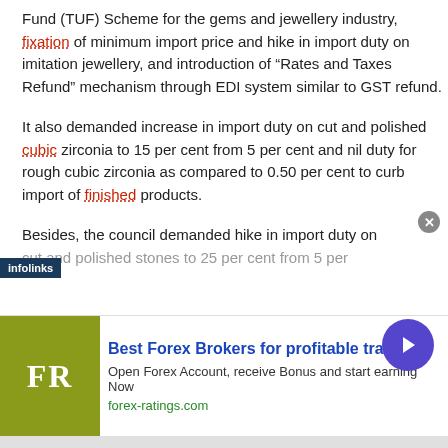Fund (TUF) Scheme for the gems and jewellery industry, fixation of minimum import price and hike in import duty on imitation jewellery, and introduction of "Rates and Taxes Refund" mechanism through EDI system similar to GST refund.
It also demanded increase in import duty on cut and polished cubic zirconia to 15 per cent from 5 per cent and nil duty for rough cubic zirconia as compared to 0.50 per cent to curb import of finished products.
Besides, the council demanded hike in import duty on cut and polished stones to 25 per cent from 5 per
[Figure (infographic): Advertisement banner: infolinks label overlay, Forex Ratings ad with FR logo on olive/yellow background, headline 'Best Forex Brokers for profitable trading', subtext 'Open Forex Account, receive Bonus and start earning Now', URL forex-ratings.com, blue circular arrow button, gray close button]